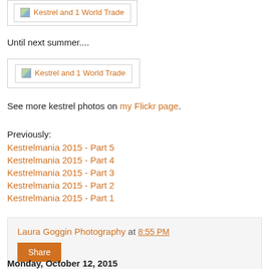[Figure (photo): Broken image placeholder: Kestrel and 1 World Trade]
Until next summer....
[Figure (photo): Broken image placeholder: Kestrel and 1 World Trade]
See more kestrel photos on my Flickr page.
Previously:
Kestrelmania 2015 - Part 5
Kestrelmania 2015 - Part 4
Kestrelmania 2015 - Part 3
Kestrelmania 2015 - Part 2
Kestrelmania 2015 - Part 1
Laura Goggin Photography at 8:55 PM
Share
Monday, October 12, 2015